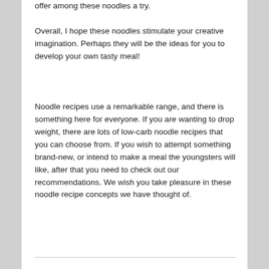offer among these noodles a try.
Overall, I hope these noodles stimulate your creative imagination. Perhaps they will be the ideas for you to develop your own tasty meal!
Noodle recipes use a remarkable range, and there is something here for everyone. If you are wanting to drop weight, there are lots of low-carb noodle recipes that you can choose from. If you wish to attempt something brand-new, or intend to make a meal the youngsters will like, after that you need to check out our recommendations. We wish you take pleasure in these noodle recipe concepts we have thought of.